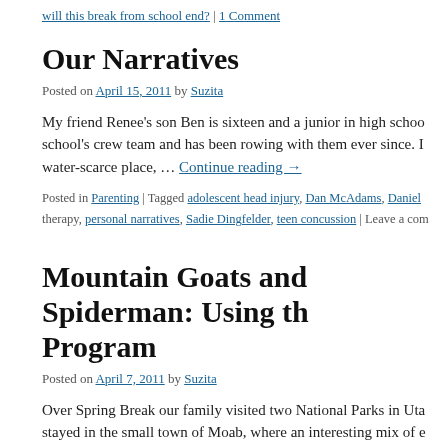will this break from school end? | 1 Comment
Our Narratives
Posted on April 15, 2011 by Suzita
My friend Renee's son Ben is sixteen and a junior in high school's crew team and has been rowing with them ever since. I water-scarce place, … Continue reading →
Posted in Parenting | Tagged adolescent head injury, Dan McAdams, Daniel therapy, personal narratives, Sadie Dingfelder, teen concussion | Leave a com
Mountain Goats and Spiderman: Using th Program
Posted on April 7, 2011 by Suzita
Over Spring Break our family visited two National Parks in Uta stayed in the small town of Moab, where an interesting mix of e something mountain bike enthusiasts live tucked in between to